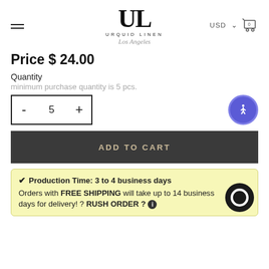URQUID LINEN Los Angeles — navigation header with USD currency selector and cart
[Figure (logo): Urquid Linen logo: large UL monogram in serif font, URQUID LINEN in spaced caps, Los Angeles in script]
Price $ 24.00
Quantity
minimum purchase quantity is 5 pcs.
- 5 +
ADD TO CART
✔ Production Time: 3 to 4 business days
Orders with FREE SHIPPING will take up to 14 business days for delivery! ? RUSH ORDER ? ℹ